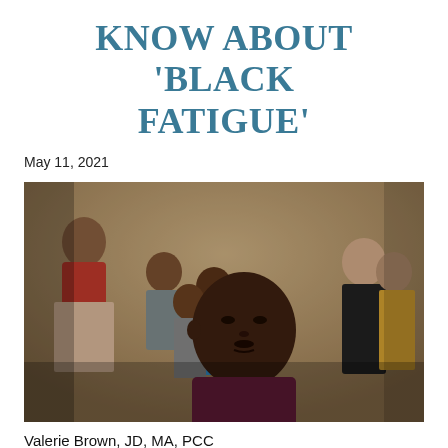KNOW ABOUT 'BLACK FATIGUE'
May 11, 2021
[Figure (photo): A group of diverse people sitting together in a meeting or gathering. A middle-aged Black man with eyes closed is prominently centered in the foreground, appearing reflective or meditative. Other people of various ethnicities are visible in the background.]
Valerie Brown, JD, MA, PCC